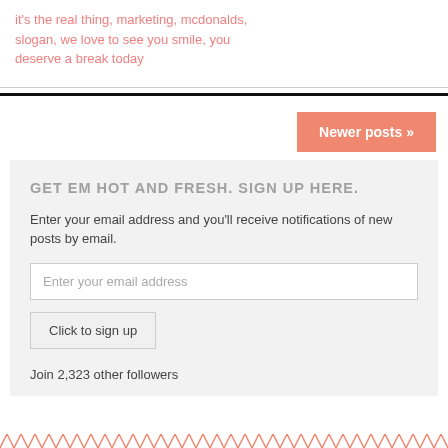it's the real thing, marketing, mcdonalds, slogan, we love to see you smile, you deserve a break today
Newer posts »
GET EM HOT AND FRESH. SIGN UP HERE.
Enter your email address and you'll receive notifications of new posts by email.
Enter your email address
Click to sign up
Join 2,323 other followers